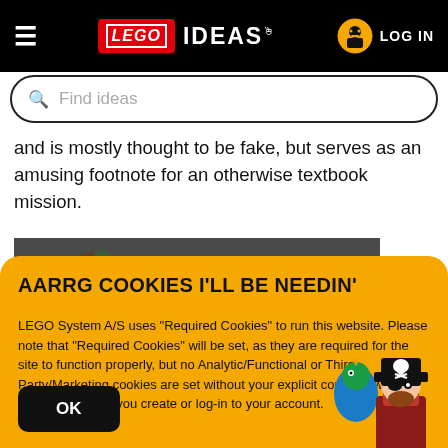LEGO IDEAS | LOG IN
Find ideas
and is mostly thought to be fake, but serves as an amusing footnote for an otherwise textbook mission.
[Figure (screenshot): Partial screenshot of a game scene with a character]
AARRG COOKIES I'LL BE NEEDIN'
LEGO System A/S uses "Required Cookies" to run this website. Please note that "Required Cookies" will be set, as they are required for the site to function properly, but no Analytic/Functional or Third Party/Marketing cookies are set without your explicit consent, which can be set when you create or log-in to your account.
OK
[Figure (illustration): LEGO pirate minifigure with parrot]